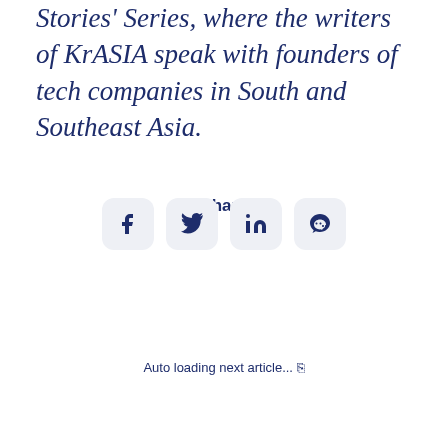Stories' Series, where the writers of KrASIA speak with founders of tech companies in South and Southeast Asia.
Share
[Figure (infographic): Four social share icon buttons: Facebook, Twitter, LinkedIn, WeChat]
Auto loading next article... ↺